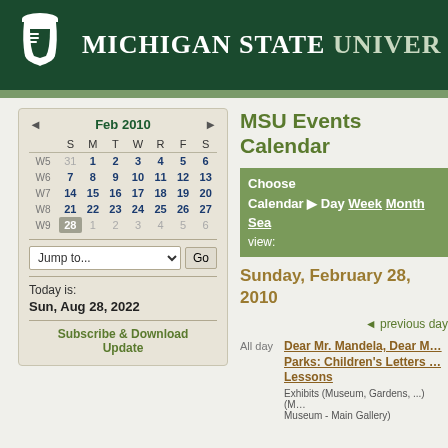[Figure (logo): Michigan State University header with Spartan helmet logo and university name in white on dark green background]
MSU Events Calendar
| Wk | S | M | T | W | R | F | S |
| --- | --- | --- | --- | --- | --- | --- | --- |
| W5 | 31 | 1 | 2 | 3 | 4 | 5 | 6 |
| W6 | 7 | 8 | 9 | 10 | 11 | 12 | 13 |
| W7 | 14 | 15 | 16 | 17 | 18 | 19 | 20 |
| W8 | 21 | 22 | 23 | 24 | 25 | 26 | 27 |
| W9 | 28 | 1 | 2 | 3 | 4 | 5 | 6 |
Jump to...
Today is:
Sun, Aug 28, 2022
Subscribe & Download Update
Choose Calendar  ▶ Day  Week  Month  Search view:
Sunday, February 28, 2010
◄ previous day
All day  Dear Mr. Mandela, Dear Mrs. Parks: Children's Letters and Lessons
Exhibits (Museum, Gardens, ...) (Museum - Main Gallery)